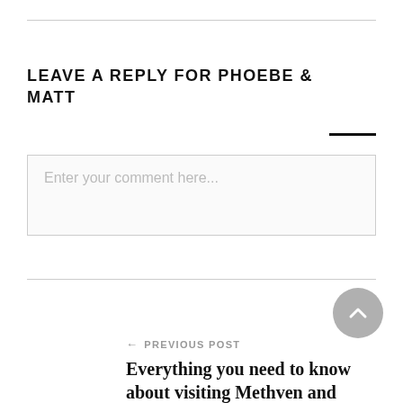LEAVE A REPLY FOR PHOEBE & MATT
Enter your comment here...
← PREVIOUS POST
Everything you need to know about visiting Methven and